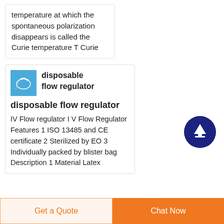temperature at which the spontaneous polarization disappears is called the Curie temperature T Curie
[Figure (photo): Small product thumbnail showing a disposable flow regulator device on blue background]
disposable flow regulator
disposable flow regulator
IV Flow regulator I V Flow Regulator Features 1 ISO 13485 and CE certificate 2 Sterilized by EO 3 Individually packed by blister bag Description 1 Material Latex
Get a Quote  Chat Now